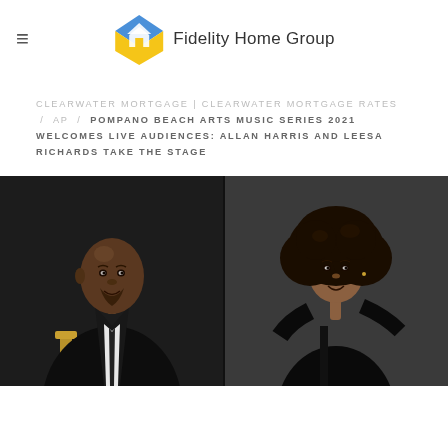≡  Fidelity Home Group
CLEARWATER MORTGAGE | CLEARWATER MORTGAGE RATES / AP / POMPANO BEACH ARTS MUSIC SERIES 2021 WELCOMES LIVE AUDIENCES: ALLAN HARRIS AND LEESA RICHARDS TAKE THE STAGE
[Figure (photo): Two performers: on the left, Allan Harris, a bald Black man in a black suit and tie, smiling; on the right, Leesa Richards, a Black woman with a large natural afro, wearing a black dress, smiling over her shoulder.]